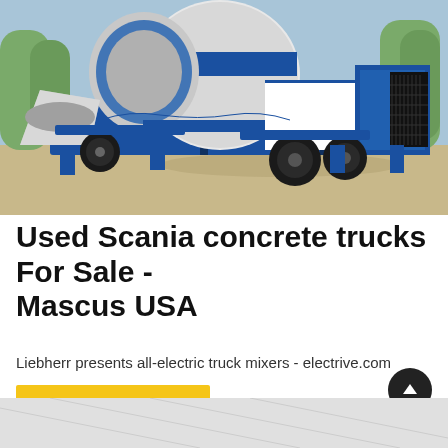[Figure (photo): A blue and white concrete mixer truck/pump machine parked on a concrete surface outdoors. The machine features a large cylindrical drum, mixing hopper, wheels, and mechanical components. Blue sky and trees visible in the background.]
Used Scania concrete trucks For Sale - Mascus USA
Liebherr presents all-electric truck mixers - electrive.com
[Figure (other): Partially visible bottom image showing a light gray surface with faint geometric lines or a vehicle outline.]